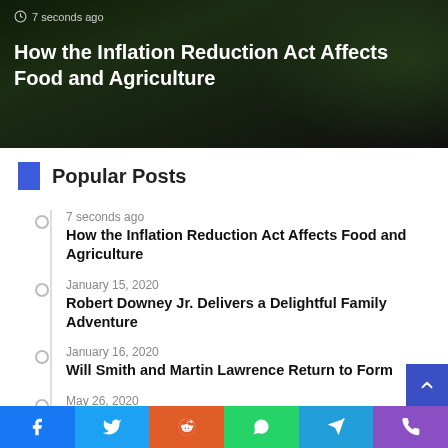[Figure (photo): Hero image with dark overlay showing agricultural/farming background]
How the Inflation Reduction Act Affects Food and Agriculture
Popular Posts
7 seconds ago
How the Inflation Reduction Act Affects Food and Agriculture
January 15, 2020
Robert Downey Jr. Delivers a Delightful Family Adventure
January 16, 2020
Will Smith and Martin Lawrence Return to Form
May 26, 2020
Build an end to end, automated inventory forecasting capability with AWS Lake Formation and Amazon Forecast
May 29, 2020